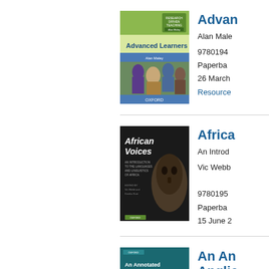[Figure (photo): Book cover: Advanced Learners, with group of people on cover, green and blue design]
Advan...
Alan Male...
9780194... Paperback 26 March... Resource...
[Figure (photo): Book cover: African Voices - An Introduction to the Languages and Linguistics of Africa, dark cover with African mask]
Africa...
An Introd...
Vic Webb... 9780195... Paperback 15 June ...
[Figure (photo): Book cover: An Annotated Bibliography of European Anglicisms, teal/blue design]
An An... Anglic...
Manfred ...